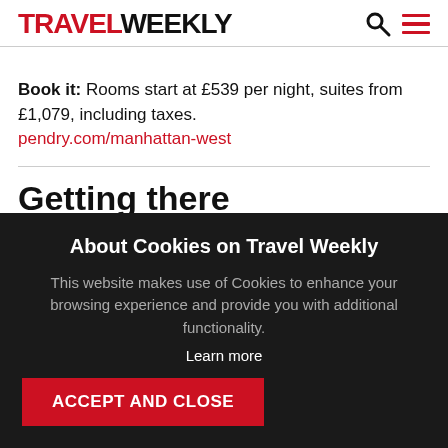TRAVEL WEEKLY
Book it: Rooms start at £539 per night, suites from £1,079, including taxes.
pendry.com/manhattan-west
Getting there
Virgin Atlantic flies direct between Heathrow and New
About Cookies on Travel Weekly
This website makes use of Cookies to enhance your browsing experience and provide you with additional functionality.
Learn more
ACCEPT AND CLOSE